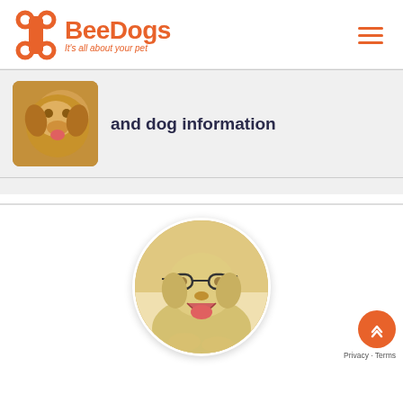[Figure (logo): BeeDogs logo with bone icon and tagline 'It's all about your pet']
[Figure (photo): Golden retriever dog thumbnail image]
and dog information
[Figure (photo): Circular photo of a yellow Labrador wearing glasses and yawning]
Privacy · Terms